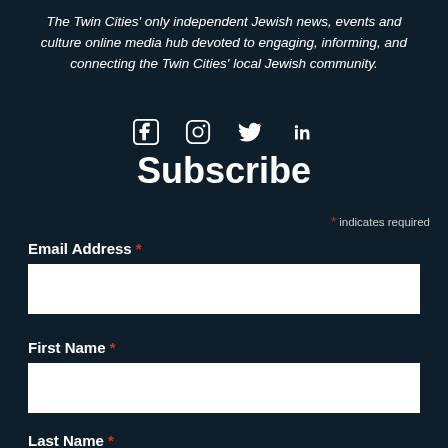The Twin Cities' only independent Jewish news, events and culture online media hub devoted to engaging, informing, and connecting the Twin Cities' local Jewish community.
[Figure (infographic): Social media icons: Facebook, Instagram, Twitter, LinkedIn]
Subscribe
* indicates required
Email Address *
First Name *
Last Name *